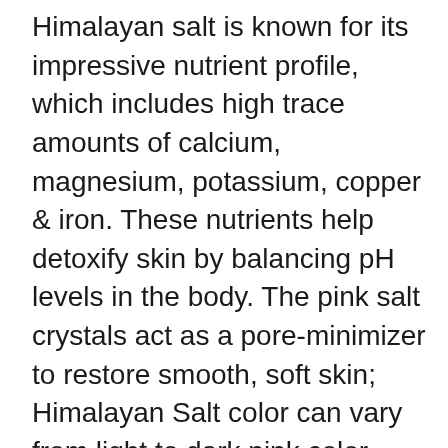Himalayan salt is known for its impressive nutrient profile, which includes high trace amounts of calcium, magnesium, potassium, copper & iron. These nutrients help detoxify skin by balancing pH levels in the body. The pink salt crystals act as a pore-minimizer to restore smooth, soft skin; Himalayan Salt color can vary from light to dark pink color hence the scrub color may vary.
Cruelty-Free, Made in USA – At Majestic Pure Cosmeceuticals, we are proud to provide you with all-natural and naturally-based cruelty-free products made right here in the United States of America.